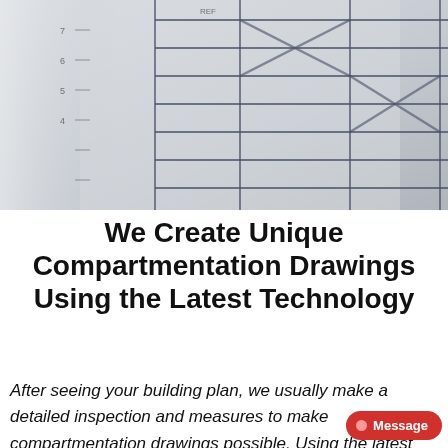[Figure (photo): A close-up photo of architectural/engineering blueprint drawings showing grid lines, structural marks, and measurement annotations on white paper, with a ruler or compass partially visible.]
We Create Unique Compartmentation Drawings Using the Latest Technology
After seeing your building plan, we usually make a detailed inspection and measures to make compartmentation drawings possible. Using the latest technology available today, our specialists inspect even hard-to-reach areas in buildings such as gaps in the ceiling, elevator